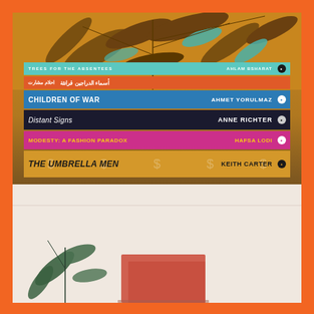[Figure (photo): Top photo: a stack of books on a wooden surface against an amber/orange wall with eucalyptus plant branches above. Books visible (bottom to top): 'The Umbrella Men' by Keith Carter (gold/yellow with dollar sign pattern), 'Modesty: A Fashion Paradox' by Hafsa Lodi (magenta/pink), 'Distant Signs' by Anne Richter (black), 'Children of War' by Ahmet Yorulmaz (blue), an Arabic-titled book (orange), 'Trees for the Absentees' by Ahlam Bsharat (teal). Bottom photo: partial view of a coral/pink book with green plant leaves, light background.]